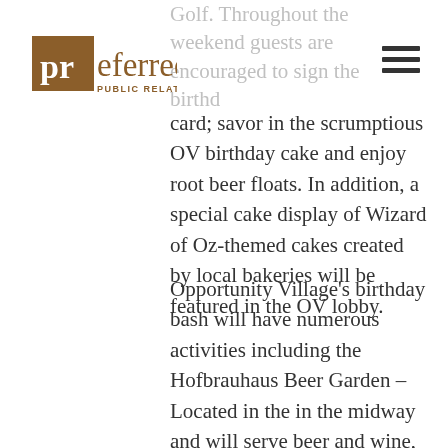Golf. Throughout the weekend guests are encouraged to sign the birthday card; savor in the scrumptious OV birthday cake and enjoy root beer floats. In addition, a special cake display of Wizard of Oz-themed cakes created by local bakeries will be featured in the OV lobby.
[Figure (logo): Preferred Public Relations logo — brown square with 'pr' in white text, followed by 'eferred' in brown, and 'PUBLIC RELATIONS' below in small brown caps]
card; savor in the scrumptious OV birthday cake and enjoy root beer floats. In addition, a special cake display of Wizard of Oz-themed cakes created by local bakeries will be featured in the OV lobby.
Opportunity Village's birthday bash will have numerous activities including the Hofbrauhaus Beer Garden – Located in the in the midway and will serve beer and wine, accompanied by a live DJ and band; Hot Air Balloon Rides – Happening only on Saturday, May 16th, tethered balloon rides,